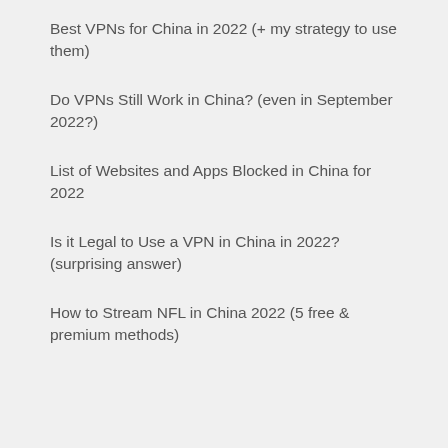Best VPNs for China in 2022 (+ my strategy to use them)
Do VPNs Still Work in China? (even in September 2022?)
List of Websites and Apps Blocked in China for 2022
Is it Legal to Use a VPN in China in 2022? (surprising answer)
How to Stream NFL in China 2022 (5 free & premium methods)